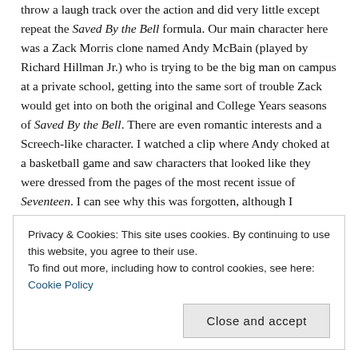throw a laugh track over the action and did very little except repeat the Saved By the Bell formula. Our main character here was a Zack Morris clone named Andy McBain (played by Richard Hillman Jr.) who is trying to be the big man on campus at a private school, getting into the same sort of trouble Zack would get into on both the original and College Years seasons of Saved By the Bell. There are even romantic interests and a Screech-like character. I watched a clip where Andy choked at a basketball game and saw characters that looked like they were dressed from the pages of the most recent issue of Seventeen. I can see why this was forgotten, although I remember enjoying it at the time. Maybe that's because there wasn't anything else on that filled the void left by Degrassi and the other two sitcoms were just way too technicolor for me, or maybe I thought that the girls on the show were hot at the time****. At any rate, when Senta Moses showed up
Privacy & Cookies: This site uses cookies. By continuing to use this website, you agree to their use. To find out more, including how to control cookies, see here: Cookie Policy
Close and accept